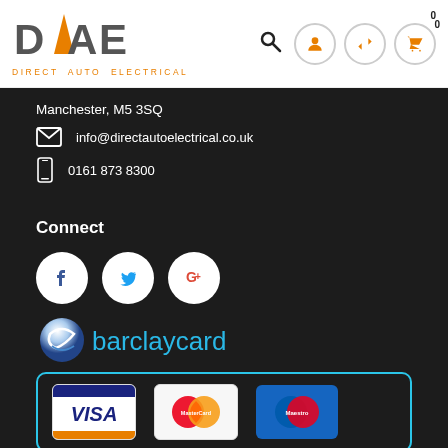[Figure (logo): DAE Direct Auto Electrical logo with orange chevron/slash]
Manchester, M5 3SQ
info@directautoelectrical.co.uk
0161 873 8300
Connect
[Figure (infographic): Social media icons: Facebook, Twitter, Google+]
[Figure (infographic): Barclaycard payment logos with Visa, MasterCard, Maestro cards]